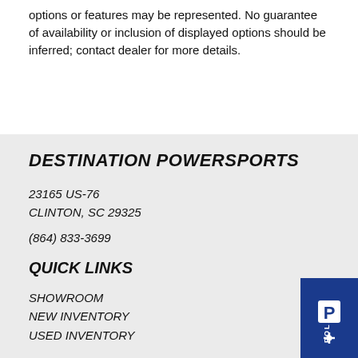options or features may be represented. No guarantee of availability or inclusion of displayed options should be inferred; contact dealer for more details.
DESTINATION POWERSPORTS
23165 US-76
CLINTON, SC 29325
(864) 833-3699
QUICK LINKS
SHOWROOM
NEW INVENTORY
USED INVENTORY
[Figure (logo): Polaris logo badge in blue with white P and star symbol, rotated text reading POLARIS]